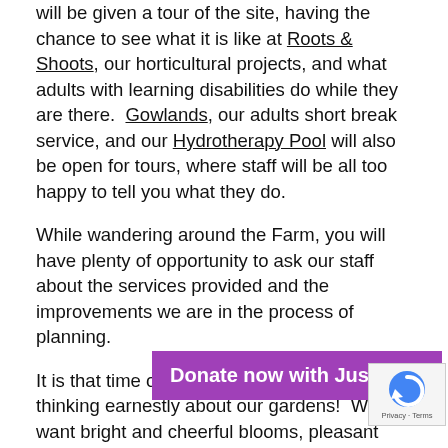will be given a tour of the site, having the chance to see what it is like at Roots & Shoots, our horticultural projects, and what adults with learning disabilities do while they are there.  Gowlands, our adults short break service, and our Hydrotherapy Pool will also be open for tours, where staff will be all too happy to tell you what they do.
While wandering around the Farm, you will have plenty of opportunity to ask our staff about the services provided and the improvements we are in the process of planning.
It is that time of the year when we start thinking earnestly about our gardens!  We want bright and cheerful blooms, pleasant smells, and a beautiful area for ourselves and some of the most important gardeners – the bees!
We have loads of beautiful flowers, including stunning hanging baskets, all of which have been grown onsite by individuals at our horticultural project.  Along with the...